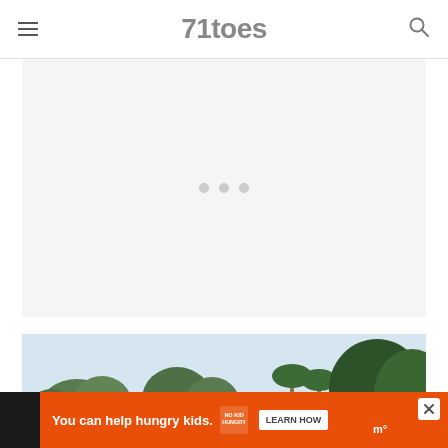71toes
[Figure (other): Large light grey carousel/slideshow placeholder area with three grey dots indicating slide navigation in the center]
[Figure (photo): Outdoor photograph showing trees including palm trees against a light blue sky, bottom portion of the image visible]
You can help hungry kids. NO KID HUNGRY LEARN HOW